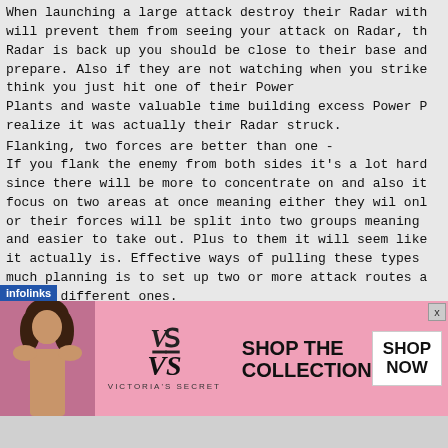When launching a large attack destroy their Radar with
will prevent them from seeing your attack on Radar, th
Radar is back up you should be close to their base and
prepare. Also if they are not watching when you strike
think you just hit one of their Power
Plants and waste valuable time building excess Power P
realize it was actually their Radar struck.
Flanking, two forces are better than one -
If you flank the enemy from both sides it's a lot hard
since there will be more to concentrate on and also it
focus on two areas at once meaning either they will onl
or their forces will be split into two groups meaning
and easier to take out. Plus to them it will seem like
it actually is. Effective ways of pulling these types
much planning is to set up two or more attack routes a
follow different ones.
Cloaked takeover -
This is a killer strategy with Nod. Load up a Subterra
build a Stealth Generator. Make sure you have l
[Figure (screenshot): Victoria's Secret advertisement banner with pink background, model photo on left, VS logo in center, 'SHOP THE COLLECTION' text and 'SHOP NOW' button on right. Infolinks overlay label visible.]